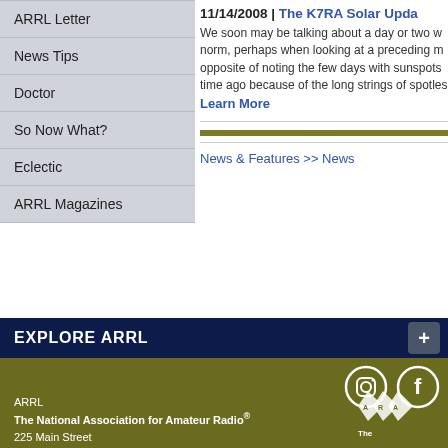ARRL Letter
News Tips
Doctor
So Now What?
Eclectic
ARRL Magazines
11/14/2008 | The K7RA Solar Upda...
We soon may be talking about a day or two w... norm, perhaps when looking at a preceding m... opposite of noting the few days with sunspots... time ago because of the long strings of spotles...
Learn More
News & Features >> News
EXPLORE ARRL
ARRL
The National Association for Amateur Radio®
225 Main Street
Newington, CT, 06111-1400 USA
Tel: 1-860-594-0200 | Fax: 1-860-594-0259